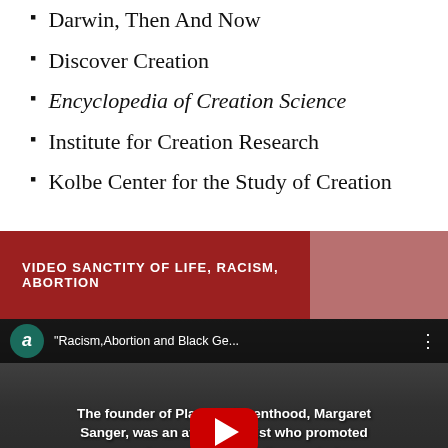Darwin, Then And Now
Discover Creation
Encyclopedia of Creation Science
Institute for Creation Research
Kolbe Center for the Study of Creation
VIDEO SANCTITY OF LIFE, RACISM, ABORTION
[Figure (screenshot): YouTube video thumbnail showing a black and white photo of a woman with overlaid white bold text reading: 'The founder of Planned Parenthood, Margaret Sanger, was an avowed racist who promoted eugenics and the s[terilization for] population control. She implemented [the Negro Project] to woo unsuspecting ministers to help reduce the black population.' A YouTube play button is overlaid in the center. The video title bar shows: '"Racism,Abortion and Black Ge..."' with a teal avatar circle with the letter 'a'.]